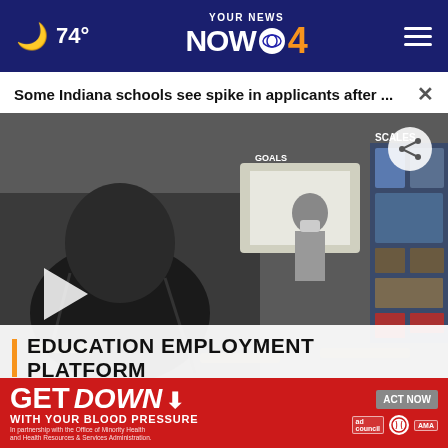74° YOUR NEWS NOW CBS 4
Some Indiana schools see spike in applicants after ...
[Figure (screenshot): Video still of a classroom with a masked teacher at a whiteboard and students in desks, with a 'EDUCATION EMPLOYMENT PLATFORM' lower-third chyron and play button overlay]
[Figure (photo): Small video thumbnail preview at the bottom left]
GET DOWN WITH YOUR BLOOD PRESSURE — ACT NOW — In partnership with the Office of Minority Health and Health Resources & Services Administration. ad council / American Heart Association / AMA